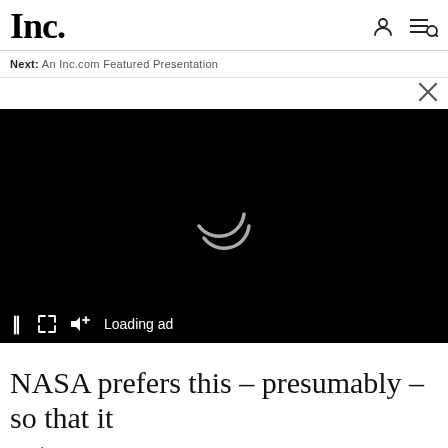Inc.
Next: An Inc.com Featured Presentation
[Figure (screenshot): Black video player with a circular loading spinner in the center, and a control bar at the bottom showing pause, expand, mute, and 'Loading ad' text]
NASA prefers this – presumably – so that it gets
[Figure (infographic): BambooHR advertisement banner with orange background, person in yellow shirt, text 'Put people first with BambooHR Performance.' and 'FREE TRIAL' button]